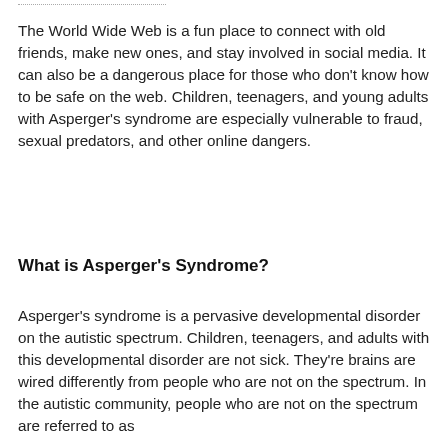The World Wide Web is a fun place to connect with old friends, make new ones, and stay involved in social media. It can also be a dangerous place for those who don't know how to be safe on the web. Children, teenagers, and young adults with Asperger's syndrome are especially vulnerable to fraud, sexual predators, and other online dangers.
What is Asperger's Syndrome?
Asperger's syndrome is a pervasive developmental disorder on the autistic spectrum. Children, teenagers, and adults with this developmental disorder are not sick. They're brains are wired differently from people who are not on the spectrum. In the autistic community, people who are not on the spectrum are referred to as